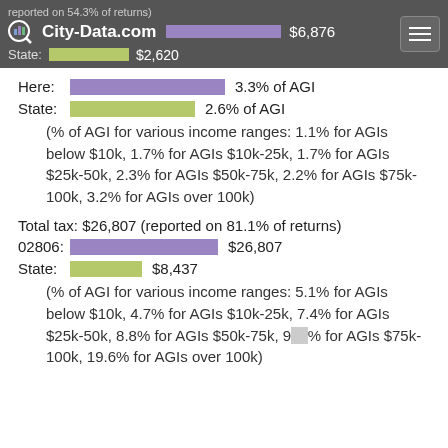reported on 54.3% of returns)  $6,876  State: $2,620
Here: 3.3% of AGI
State: 2.6% of AGI
(% of AGI for various income ranges: 1.1% for AGIs below $10k, 1.7% for AGIs $10k-25k, 1.7% for AGIs $25k-50k, 2.3% for AGIs $50k-75k, 2.2% for AGIs $75k-100k, 3.2% for AGIs over 100k)
Total tax: $26,807 (reported on 81.1% of returns)
02806: $26,807
State: $8,437
(% of AGI for various income ranges: 5.1% for AGIs below $10k, 4.7% for AGIs $10k-25k, 7.4% for AGIs $25k-50k, 8.8% for AGIs $50k-75k, 9.??% for AGIs $75k-100k, 19.6% for AGIs over 100k)